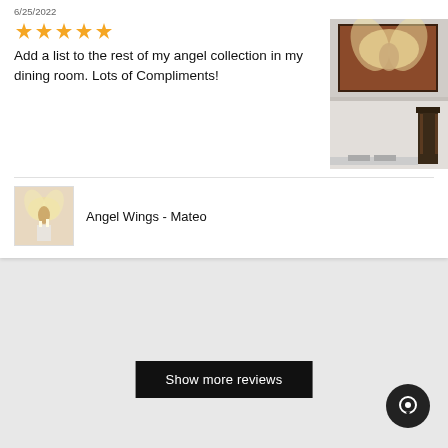6/25/2022
★★★★★
Add a list to the rest of my angel collection in my dining room. Lots of Compliments!
[Figure (photo): Photo of an angel wings artwork framed on a dining room wall, with a wooden chair visible.]
[Figure (photo): Small product thumbnail image of Angel Wings - Mateo artwork]
Angel Wings - Mateo
Show more reviews